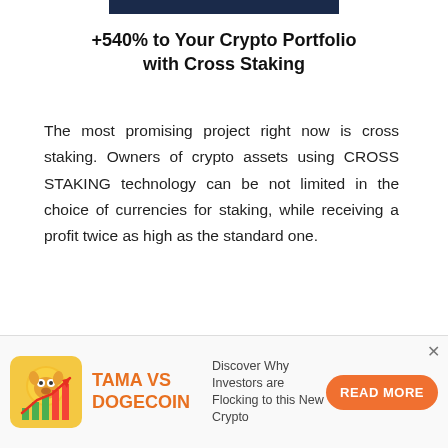+540% to Your Crypto Portfolio with Cross Staking
The most promising project right now is cross staking. Owners of crypto assets using CROSS STAKING technology can be not limited in the choice of currencies for staking, while receiving a profit twice as high as the standard one.
Ads by Cointraffic
[Figure (infographic): Bottom advertisement banner: TAMA VS DOGECOIN with dog/chart icon, text 'Discover Why Investors are Flocking to this New Crypto', orange READ MORE button, and close X button]